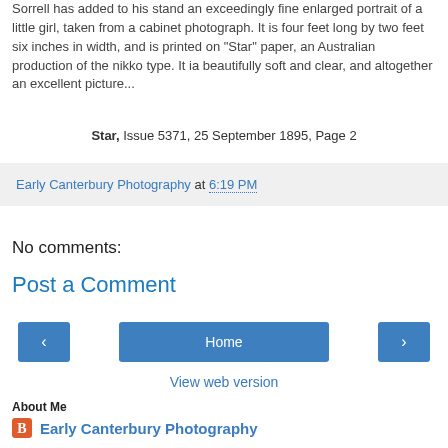Sorrell has added to his stand an exceedingly fine enlarged portrait of a little girl, taken from a cabinet photograph. It is four feet long by two feet six inches in width, and is printed on "Star" paper, an Australian production of the nikko type. It ia beautifully soft and clear, and altogether an excellent picture...
Star, Issue 5371, 25 September 1895, Page 2
Early Canterbury Photography at 6:19 PM
No comments:
Post a Comment
Home
View web version
About Me
Early Canterbury Photography